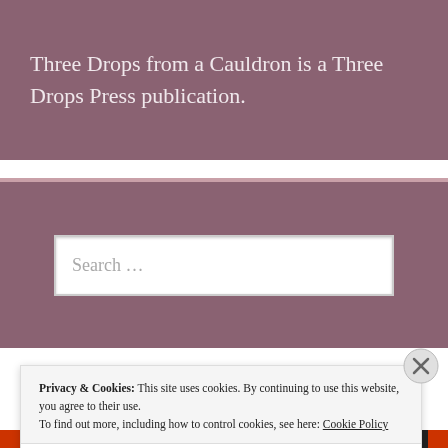Three Drops from a Cauldron is a Three Drops Press publication.
[Figure (screenshot): Search input field with placeholder text 'Search ...' on a mauve/purple background]
Privacy & Cookies: This site uses cookies. By continuing to use this website, you agree to their use.
To find out more, including how to control cookies, see here: Cookie Policy
Close and accept